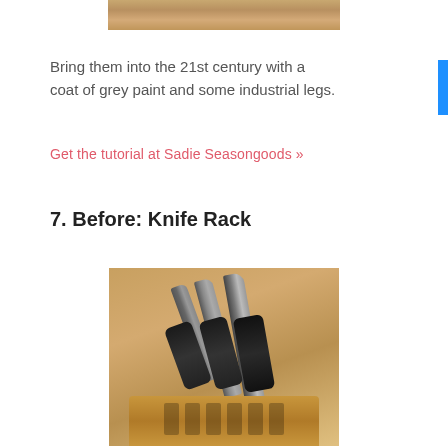[Figure (photo): Partial top portion of a wooden furniture piece on a wooden surface, cropped at top of page]
Bring them into the 21st century with a coat of grey paint and some industrial legs.
Get the tutorial at Sadie Seasongoods »
7. Before: Knife Rack
[Figure (photo): A wooden knife block holding multiple knives with black handles, photographed up close on a wooden surface]